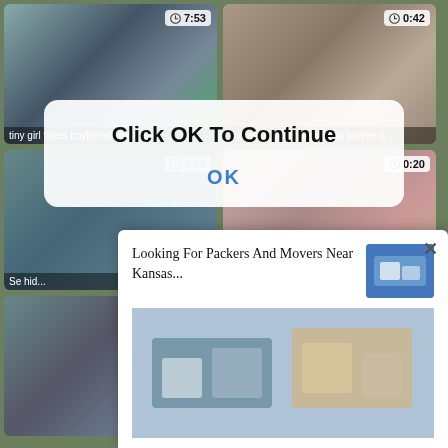[Figure (screenshot): Video thumbnail grid showing adult content website with video thumbnails, duration badges, and two overlapping popup modals. Top-left thumb shows '7:53', top-right shows '0:42', middle-right shows '0:20', bottom-right shows '7:00'. Modal 1: 'Click OK To Continue' dialog. Modal 2: advertisement for 'Looking For Packers And Movers Near Kansas...' with image of movers.]